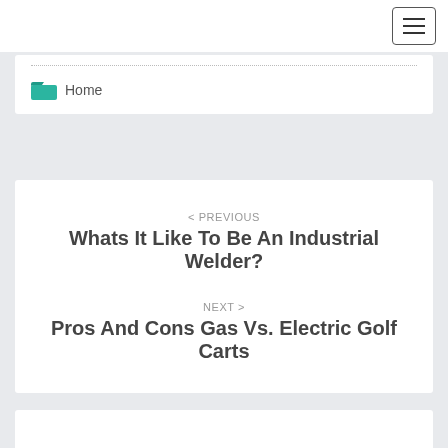Navigation menu (hamburger icon)
Home
< PREVIOUS
Whats It Like To Be An Industrial Welder?
NEXT >
Pros And Cons Gas Vs. Electric Golf Carts